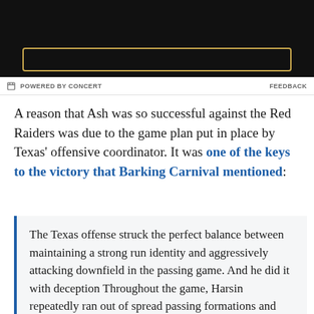[Figure (photo): Dark background image with a gold/yellow bordered rectangle element at the bottom]
POWERED BY CONCERT   FEEDBACK
A reason that Ash was so successful against the Red Raiders was due to the game plan put in place by Texas' offensive coordinator. It was one of the keys to the victory that Barking Carnival mentioned:
The Texas offense struck the perfect balance between maintaining a strong run identity and aggressively attacking downfield in the passing game. And he did it with deception Throughout the game, Harsin repeatedly ran out of spread passing formations and threw deep on 1st down out of run formations. Texas Tech was caught cheating on formational keys on a half dozen instances and Texas used to exploit Red Raiders for...